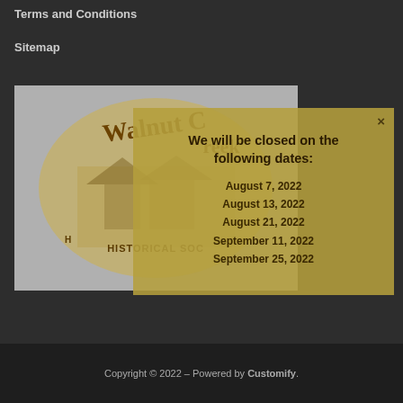Terms and Conditions
Sitemap
[Figure (logo): Walnut Creek Historical Society circular logo with building illustration]
We will be closed on the following dates:
August 7, 2022
August 13, 2022
August 21, 2022
September 11, 2022
September 25, 2022
Copyright © 2022 – Powered by Customify.